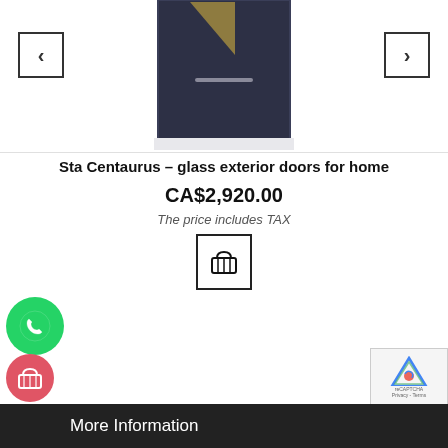[Figure (photo): Dark navy blue exterior door (Sta Centaurus) with a small glass panel insert at the top, shown cropped, with left and right navigation arrows on either side]
Sta Centaurus - glass exterior doors for home
CA$2,920.00
The price includes TAX
[Figure (illustration): Shopping basket icon inside a square border — Add to Cart button]
[Figure (illustration): Green WhatsApp circle button with phone/chat icon]
[Figure (illustration): Red/pink basket circle floating action button]
[Figure (illustration): reCAPTCHA badge in bottom right]
[Figure (illustration): Dark scroll-to-top arrow button]
More Information